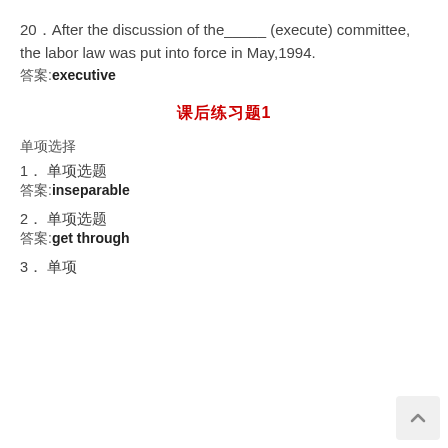20．After the discussion of the_____ (execute) committee, the labor law was put into force in May,1994.
答案:executive
课后练习题1
单项选择
1． 单项选题
答案:inseparable
2． 单项选题
答案:get through
3． 单项